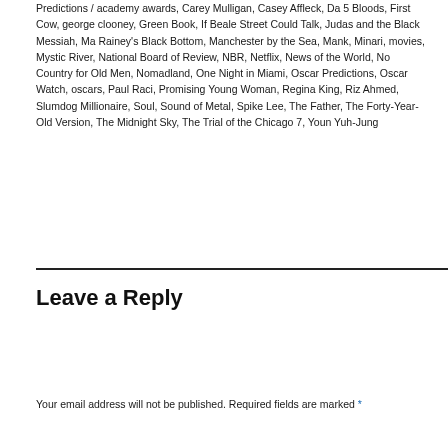Predictions / academy awards, Carey Mulligan, Casey Affleck, Da 5 Bloods, First Cow, george clooney, Green Book, If Beale Street Could Talk, Judas and the Black Messiah, Ma Rainey's Black Bottom, Manchester by the Sea, Mank, Minari, movies, Mystic River, National Board of Review, NBR, Netflix, News of the World, No Country for Old Men, Nomadland, One Night in Miami, Oscar Predictions, Oscar Watch, oscars, Paul Raci, Promising Young Woman, Regina King, Riz Ahmed, Slumdog Millionaire, Soul, Sound of Metal, Spike Lee, The Father, The Forty-Year-Old Version, The Midnight Sky, The Trial of the Chicago 7, Youn Yuh-Jung
Leave a Reply
Your email address will not be published. Required fields are marked *